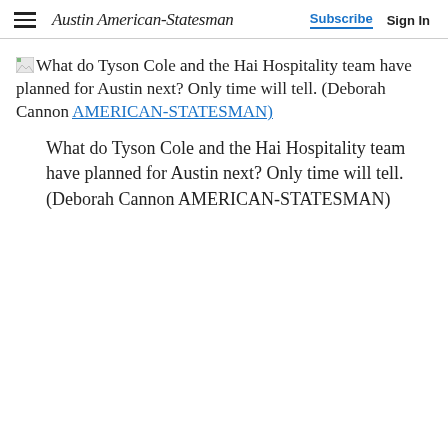Austin American-Statesman | Subscribe  Sign In
What do Tyson Cole and the Hai Hospitality team have planned for Austin next? Only time will tell. (Deborah Cannon AMERICAN-STATESMAN)
What do Tyson Cole and the Hai Hospitality team have planned for Austin next? Only time will tell. (Deborah Cannon AMERICAN-STATESMAN)